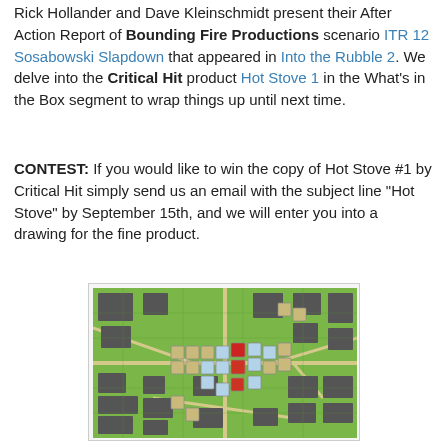Rick Hollander and Dave Kleinschmidt present their After Action Report of Bounding Fire Productions scenario ITR 12 Sosabowski Slapdown that appeared in Into the Rubble 2. We delve into the Critical Hit product Hot Stove 1 in the What's in the Box segment to wrap things up until next time.
CONTEST: If you would like to win the copy of Hot Stove #1 by Critical Hit simply send us an email with the subject line "Hot Stove" by September 15th, and we will enter you into a drawing for the fine product.
[Figure (photo): A board game map showing a hex-grid city map with various military unit counters placed on it. The map is green with grey building blocks and streets. Units are small square counters in various colors.]